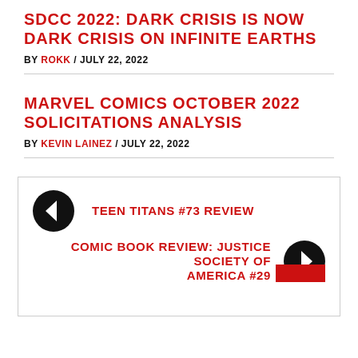SDCC 2022: DARK CRISIS IS NOW DARK CRISIS ON INFINITE EARTHS
BY ROKK / JULY 22, 2022
MARVEL COMICS OCTOBER 2022 SOLICITATIONS ANALYSIS
BY KEVIN LAINEZ / JULY 22, 2022
← TEEN TITANS #73 REVIEW
COMIC BOOK REVIEW: JUSTICE SOCIETY OF AMERICA #29 →